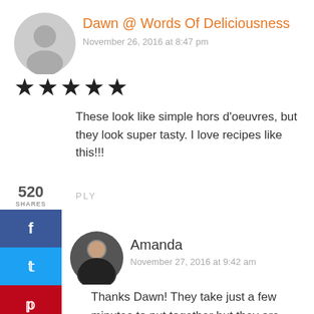Dawn @ Words Of Deliciousness
November 26, 2016 at 8:47 pm
[Figure (other): Five filled black stars rating]
These look like simple hors d'oeuvres, but they look super tasty. I love recipes like this!!!
REPLY
[Figure (other): Social share sidebar with 520 shares, Facebook, Twitter, and Pinterest buttons]
[Figure (photo): Round avatar photo of Amanda]
Amanda
November 27, 2016 at 9:42 am
Thanks Dawn! They take just a few minutes to put together but they are sooooo good!